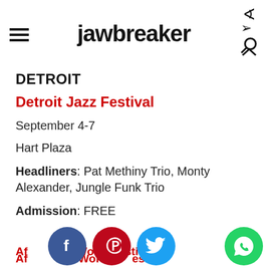jawbreaker
DETROIT
Detroit Jazz Festival
September 4-7
Hart Plaza
Headliners: Pat Methiny Trio, Monty Alexander, Jungle Funk Trio
Admission: FREE
Af… Wor…estiva…